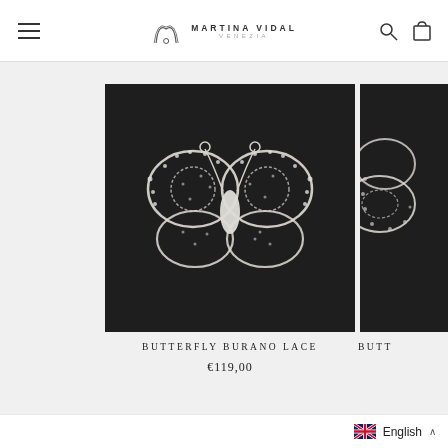Martina Vidal — navigation header with hamburger menu, logo, search and cart icons
[Figure (photo): White Burano lace butterfly brooch on dark background, showing intricate lacework with circular wing patterns and antenna details]
BUTTERFLY BURANO LACE
€119,00
[Figure (photo): Partial view of another white lace butterfly product on dark background, cropped at right edge]
BUTT
English